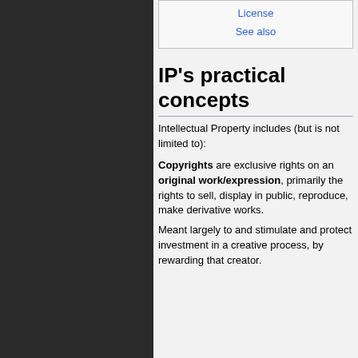[Figure (illustration): Dark background panel with repeating gear/cog pattern in dark grey tones]
License
See also
IP's practical concepts
Intellectual Property includes (but is not limited to):
Copyrights are exclusive rights on an original work/expression, primarily the rights to sell, display in public, reproduce, make derivative works.
Meant largely to and stimulate and protect investment in a creative process, by rewarding that creator.